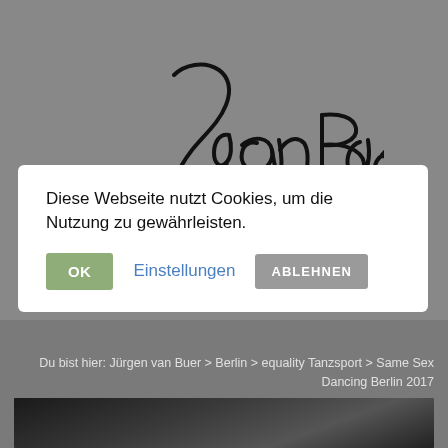[Figure (logo): Handwritten signature/logo reading 'Juan Buer' in cursive script on grey background]
Diese Webseite nutzt Cookies, um die Nutzung zu gewährleisten.
OK | Einstellungen | ABLEHNEN
Du bist hier: Jürgen van Buer > Berlin > equality Tanzsport > Same Sex Dancing Berlin 2017
[Figure (photo): Black and white photo of dancers at Same Sex Dancing Berlin 2017 event]